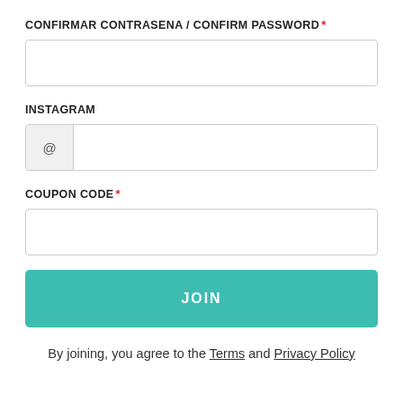CONFIRMAR CONTRASENA / CONFIRM PASSWORD *
[Figure (other): Password confirm input field (empty text box)]
INSTAGRAM
[Figure (other): Instagram input field with @ prefix box]
COUPON CODE *
[Figure (other): Coupon code input field (empty text box)]
[Figure (other): JOIN button (teal/green background, white bold text)]
By joining, you agree to the Terms and Privacy Policy